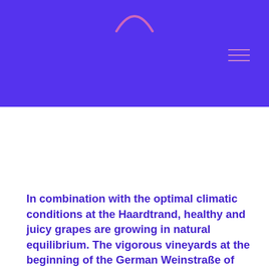[Figure (logo): Purple header bar with a pink/purple arc logo at top center and a hamburger menu icon at top right]
In combination with the optimal climatic conditions at the Haardtrand, healthy and juicy grapes are growing in natural equilibrium. The vigorous vineyards at the beginning of the German Weinstraße of Northern Palatinate give rise to wines full of character and of genuine organic quality.
Plant-based products like herbal extracts or tea are used to strengthen the vines. Clover and wild herbs